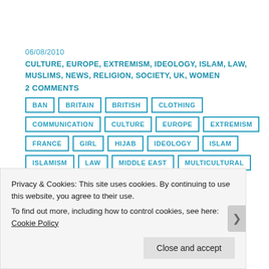06/08/2010
CULTURE, EUROPE, EXTREMISM, IDEOLOGY, ISLAM, LAW, MUSLIMS, NEWS, RELIGION, SOCIETY, UK, WOMEN
2 COMMENTS
BAN
BRITAIN
BRITISH
CLOTHING
COMMUNICATION
CULTURE
EUROPE
EXTREMISM
FRANCE
GIRL
HIJAB
IDEOLOGY
ISLAM
ISLAMISM
LAW
MIDDLE EAST
MULTICULTURAL
MUSLIMS
NEWS
QURAN
Privacy & Cookies: This site uses cookies. By continuing to use this website, you agree to their use.
To find out more, including how to control cookies, see here: Cookie Policy
Close and accept